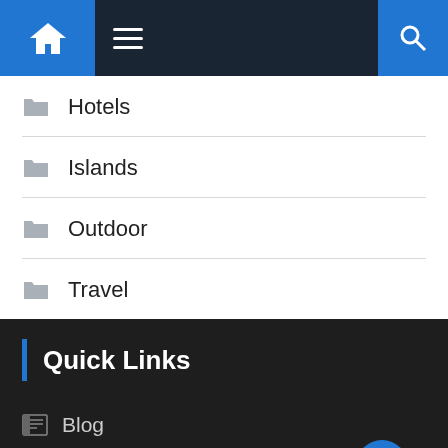[Figure (screenshot): Navigation bar with home icon (blue), hamburger menu, and search icon (blue) on dark background]
Hotels
Islands
Outdoor
Travel
Quick Links
Blog
Home
Privacy Policy